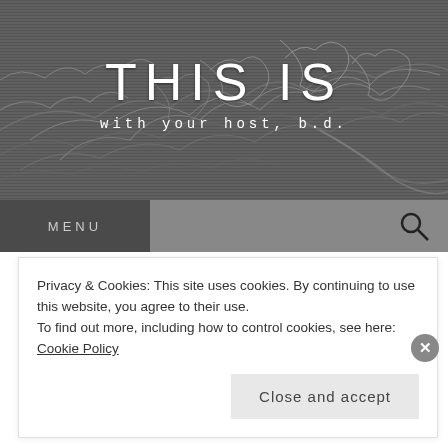[Figure (illustration): Dark grayscale website header banner with abstract sketch/line art illustration of tangled organic shapes, used as background for site title]
THIS IS
with your host, b.d.
MENU
AN EXERCISE IN CONTRASTS
Privacy & Cookies: This site uses cookies. By continuing to use this website, you agree to their use.
To find out more, including how to control cookies, see here: Cookie Policy
Close and accept